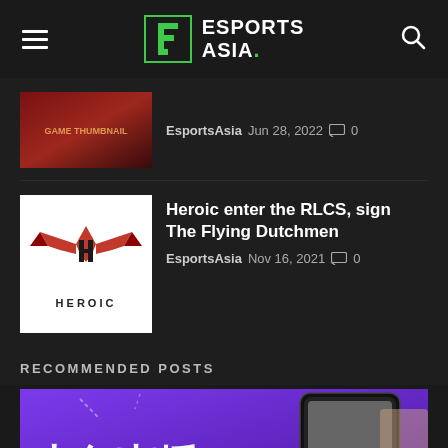ESPORTS ASIA.
[Figure (screenshot): Game thumbnail with red fantasy art]
EsportsAsia  Jun 28, 2022  0
[Figure (logo): Heroic esports logo on white background]
Heroic enter the RLCS, sign The Flying Dutchmen
EsportsAsia  Nov 16, 2021  0
RECOMMENDED POSTS
[Figure (photo): Purple promotional banner with Chinese text and mobile phone showing streaming app, woman's face visible on right]